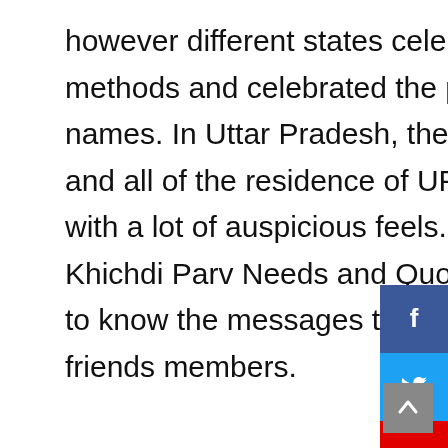however different states celebrating Makar Sakranti in several methods and celebrated the pageant with totally different names. In Uttar Pradesh, the pageant is named Khichdi Parv, and all of the residence of UP have a good time the pageant with a lot of auspicious feels. Right here, we're offering Khichdi Parv Needs and Quotes for the customers who wish to know the messages to share them with their family and friends members.
[Figure (other): Social media sidebar buttons: Facebook (blue), Twitter (light blue), YouTube (red), Instagram (steel blue)]
[Figure (other): Scroll-to-top button (grey square with upward arrow)]